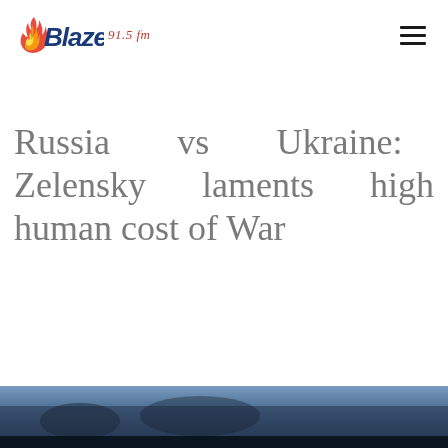Blaze 91.5 fm
Russia vs Ukraine: Zelensky laments high human cost of War
[Figure (photo): Partial view of a photo at the bottom of the page, appears to show a dark scene related to the Russia-Ukraine war topic]